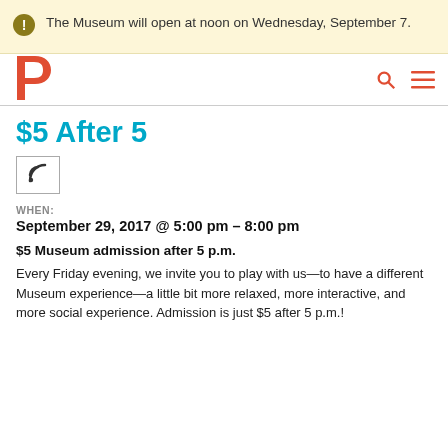The Museum will open at noon on Wednesday, September 7.
[Figure (logo): Red letter P logo for a museum website]
$5 After 5
[Figure (other): RSS feed icon button]
WHEN:
September 29, 2017 @ 5:00 pm – 8:00 pm
$5 Museum admission after 5 p.m.
Every Friday evening, we invite you to play with us—to have a different Museum experience—a little bit more relaxed, more interactive, and more social experience. Admission is just $5 after 5 p.m.!